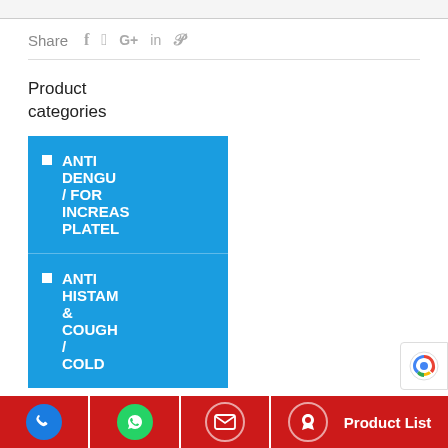Share  f  ʸ  G+  in  ℗
Product categories
ANTI DENGU / FOR INCREAS PLATEL
ANTI HISTAM & COUGH / COLD